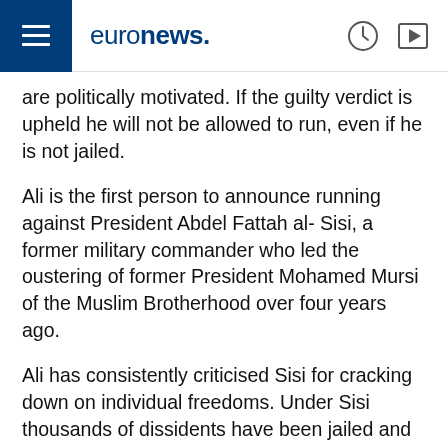euronews.
are politically motivated. If the guilty verdict is upheld he will not be allowed to run, even if he is not jailed.
Ali is the first person to announce running against President Abdel Fattah al- Sisi, a former military commander who led the oustering of former President Mohamed Mursi of the Muslim Brotherhood over four years ago.
Ali has consistently criticised Sisi for cracking down on individual freedoms. Under Sisi thousands of dissidents have been jailed and the government has shut down independent media.
Khalid Ali, rights lawyer, sentenced to 3 months in jail today – if verdict confirmed he can't stand for #Egypt 2018 presidential elections